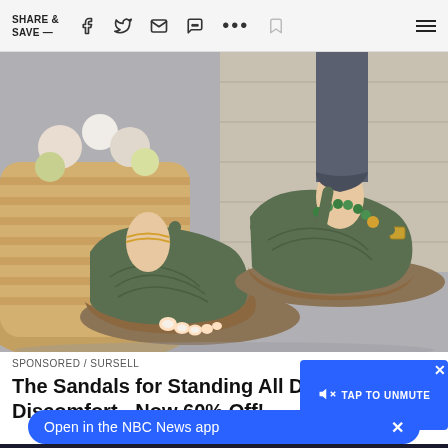SHARE & SAVE —
[Figure (photo): Close-up photo of a woman's feet wearing olive green embroidered flip-flop sandals with ankle straps, next to a wicker basket planter with flowers. The sandals have a brown sole and decorative stitching.]
SPONSORED / SURSELL
The Sandals for Standing All D... Discomfort - Now 60% Off!
[Figure (screenshot): Blue video overlay box with TAP TO UNMUTE button (speaker with X icon) and a close X button in the upper right corner]
Open in the NBC News app